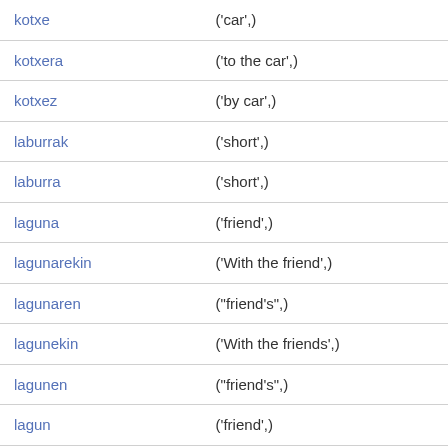| Word | Meaning |
| --- | --- |
| kotxe | ('car',) |
| kotxera | ('to the car',) |
| kotxez | ('by car',) |
| laburrak | ('short',) |
| laburra | ('short',) |
| laguna | ('friend',) |
| lagunarekin | ('With the friend',) |
| lagunaren | ("friend's",) |
| lagunekin | ('With the friends',) |
| lagunen | ("friend's",) |
| lagun | ('friend',) |